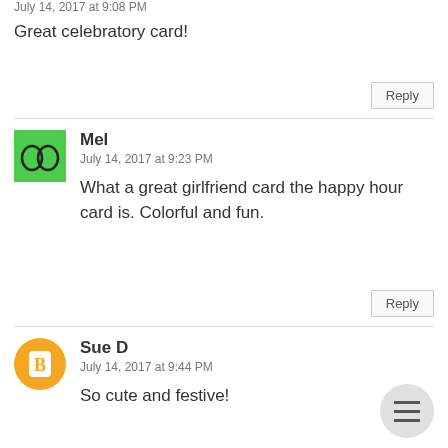July 14, 2017 at 9:08 PM
Great celebratory card!
Reply
[Figure (illustration): Green avatar with two overlapping circle/spiral symbols]
Mel
July 14, 2017 at 9:23 PM
What a great girlfriend card the happy hour card is. Colorful and fun.
Reply
[Figure (illustration): Orange circular avatar with Blogger 'B' icon]
Sue D
July 14, 2017 at 9:44 PM
So cute and festive!
[Figure (illustration): Gray circular hamburger menu button with three horizontal lines]